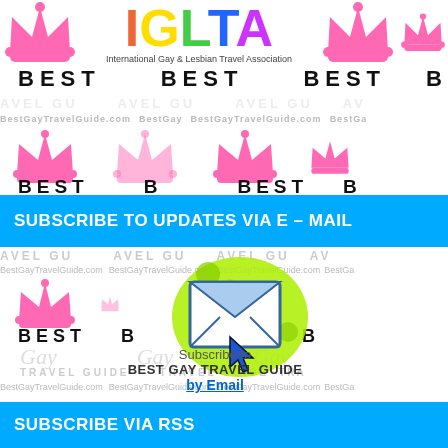[Figure (logo): IGLTA logo with rainbow colored letters and text 'International Gay & Lesbian Travel Association' with decorative crown watermarks and 'BEST' text repeated in background]
SUBSCRIBE TO UPDATES VIA E – MAIL
[Figure (illustration): Email subscribe graphic with envelope icon in green splash circle with cursor arrow, surrounded by Best Gay Travel Guide watermark tiling. Text: Subscribe to BEST GAY TRAVEL GUIDE by Email]
SUBSCRIBE VIA RSS
[Figure (illustration): RSS feed icon - illustrated book with RSS symbol and orange/yellow design, text 'My RSS Feeds', surrounded by Best Gay Travel Guide watermark tiling]